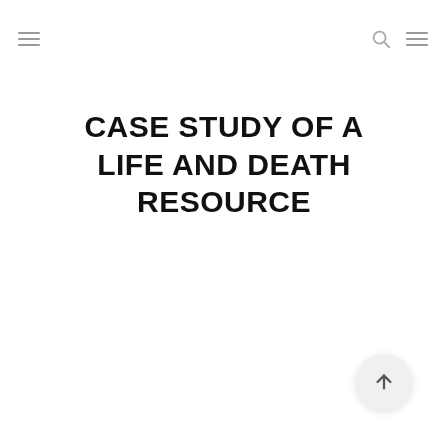navigation icons: hamburger menu (left), search icon and hamburger menu (right)
CASE STUDY OF A LIFE AND DEATH RESOURCE
[Figure (other): Scroll-to-top circular button with upward arrow icon, positioned bottom-right]